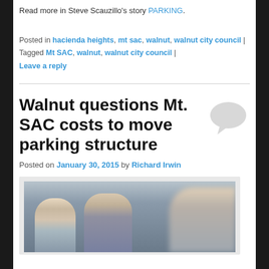Read more in Steve Scauzillo's story PARKING.
Posted in hacienda heights, mt sac, walnut, walnut city council | Tagged Mt SAC, walnut, walnut city council | Leave a reply
Walnut questions Mt. SAC costs to move parking structure
Posted on January 30, 2015 by Richard Irwin
[Figure (photo): Photo of two people seated at a table (a woman and a man), with a blurred figure in the foreground on the right side.]